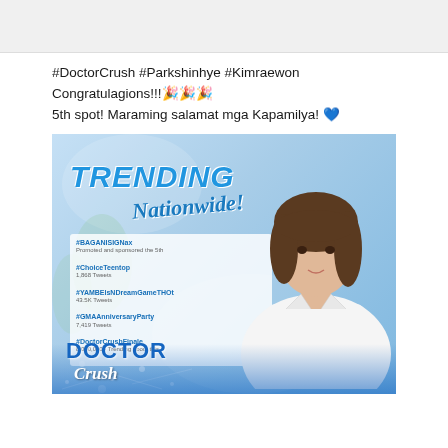[Figure (screenshot): Top gray banner/header area of a social media post]
#DoctorCrush #Parkshinhye #Kimraewon Congratulagions!!!🎉🎉🎉 5th spot! Maraming salamat mga Kapamilya! 💙
[Figure (screenshot): Image showing 'TRENDING Nationwide!' text in blue with a Twitter trending list on the left showing #BAGANISIGNax at top, then #ChoiceTeentop, #YAMBEIsNDreamGameTHOt, #GMAAnniversaryParty, #DoctorCrushFinale at 5th spot. Right side shows a woman in a white coat (Park Shin Hye as Doctor Crush). Bottom has 'DOCTOR Crush' logo. Background is light blue.]